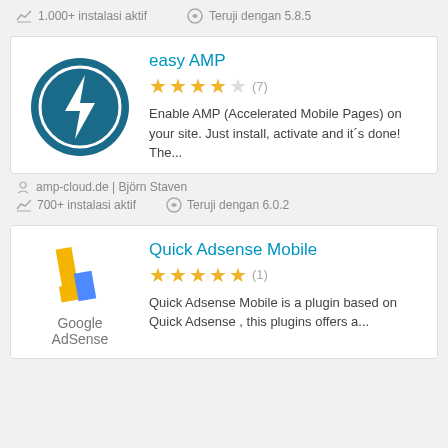1.000+ instalasi aktif    Teruji dengan 5.8.5
[Figure (illustration): easy AMP plugin card with teal circle lightning bolt logo]
easy AMP
★★★★☆ (7)
Enable AMP (Accelerated Mobile Pages) on your site. Just install, activate and it´s done! The...
amp-cloud.de | Björn Staven
700+ instalasi aktif    Teruji dengan 6.0.2
[Figure (logo): Google AdSense logo]
Quick Adsense Mobile
★★★★★ (1)
Quick Adsense Mobile is a plugin based on Quick Adsense , this plugins offers a...